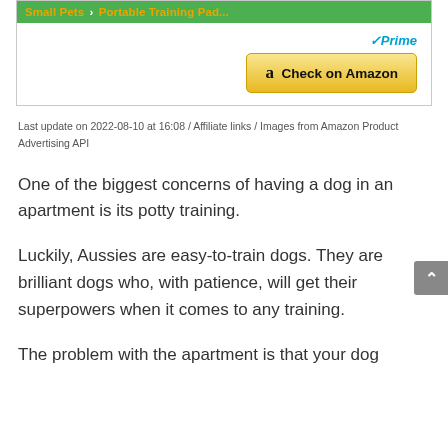[Figure (other): Product listing box with green title bar showing 'Small Pets → Portable Training Pad...', Amazon Prime badge, and 'Check on Amazon' button]
Last update on 2022-08-10 at 16:08 / Affiliate links / Images from Amazon Product Advertising API
One of the biggest concerns of having a dog in an apartment is its potty training.
Luckily, Aussies are easy-to-train dogs. They are brilliant dogs who, with patience, will get their superpowers when it comes to any training.
The problem with the apartment is that your dog